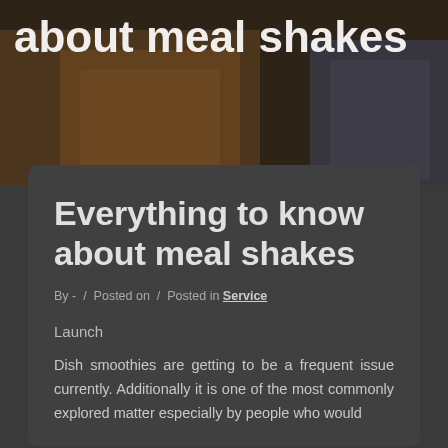[Figure (photo): Hero image of two people, partially visible, one wearing a brown jacket, on a dark background. Large bold white text overlaid reads 'about meal shakes']
Everything to know about meal shakes
By - / Posted on / Posted in Service
Launch
Dish smoothies are getting to be a frequent issue currently. Additionally it is one of the most commonly explored matter especially by people who would